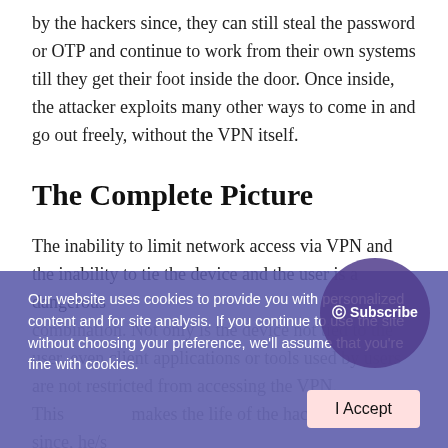by the hackers since, they can still steal the password or OTP and continue to work from their own systems till they get their foot inside the door. Once inside, the attacker exploits many other ways to come in and go out freely, without the VPN itself.
The Complete Picture
The inability to limit network access via VPN and the inability to tie the device and the user is a dangerous combination. Not only is the device not tied to the user, even client applications or tools used by users are not restricted from accessing the VPN. This makes the life of the hacker easier since, he/she just needs to compromise the endpoint. Game Over! (I know I've said it before!). The attacker can now move into the network and...
Our website uses cookies to provide you with personalized content and for site analysis. If you continue to use the site without choosing your preference, we'll assume that you're fine with cookies.